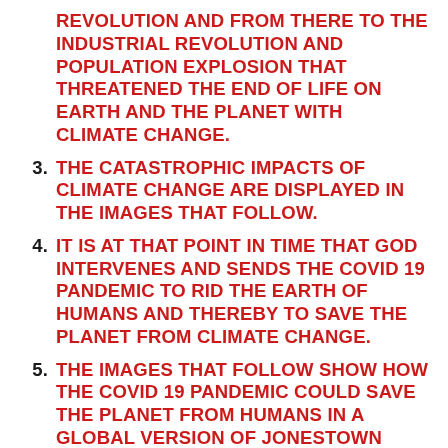REVOLUTION AND FROM THERE TO THE INDUSTRIAL REVOLUTION AND POPULATION EXPLOSION THAT THREATENED THE END OF LIFE ON EARTH AND THE PLANET WITH CLIMATE CHANGE.
3. THE CATASTROPHIC IMPACTS OF CLIMATE CHANGE ARE DISPLAYED IN THE IMAGES THAT FOLLOW.
4. IT IS AT THAT POINT IN TIME THAT GOD INTERVENES AND SENDS THE COVID 19 PANDEMIC TO RID THE EARTH OF HUMANS AND THEREBY TO SAVE THE PLANET FROM CLIMATE CHANGE.
5. THE IMAGES THAT FOLLOW SHOW HOW THE COVID 19 PANDEMIC COULD SAVE THE PLANET FROM HUMANS IN A GLOBAL VERSION OF JONESTOWN THAT WOULD TAKE OUT ALL